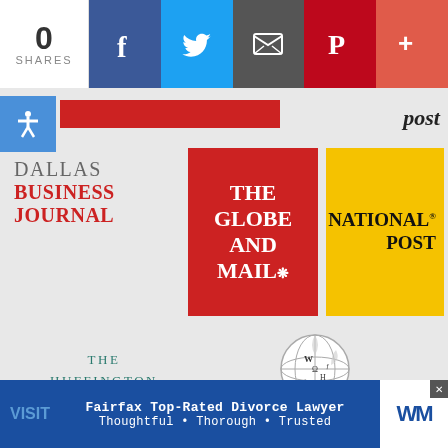[Figure (infographic): Social share bar with 0 shares count, Facebook, Twitter, Email, Pinterest, and More buttons]
[Figure (logo): Dallas Business Journal logo in serif font, 'DALLAS' in gray, 'BUSINESS JOURNAL' in red]
[Figure (logo): The Globe and Mail logo - white text on red square background]
[Figure (logo): National Post logo - black bold text on yellow square background]
[Figure (logo): The Huffington Post logo in teal/green uppercase serif letters]
[Figure (logo): Wikipedia logo with globe and 'Wikipedia The Free Encyclopedia' text]
Fairfax Top-Rated Divorce Lawyer Thoughtful • Thorough • Trusted